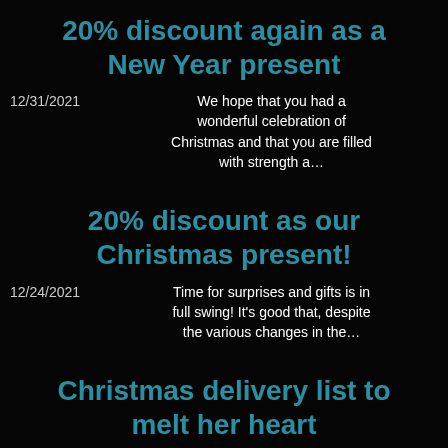20% discount again as a New Year present
12/31/2021   We hope that you had a wonderful celebration of Christmas and that you are filled with strength a…
20% discount as our Christmas present!
12/24/2021   Time for surprises and gifts is in full swing! It's good that, despite the various changes in the…
Christmas delivery list to melt her heart
12/09/2021   Happy coming holidays, dear friend! Have a present for…